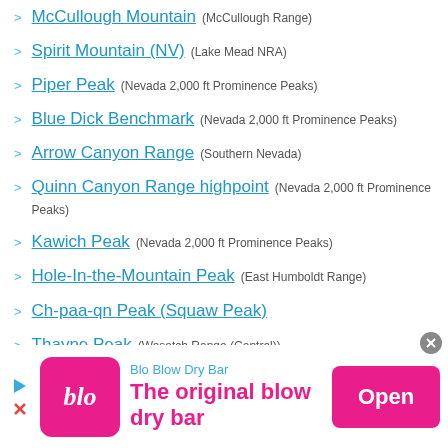McCullough Mountain (McCullough Range)
Spirit Mountain (NV) (Lake Mead NRA)
Piper Peak (Nevada 2,000 ft Prominence Peaks)
Blue Dick Benchmark (Nevada 2,000 ft Prominence Peaks)
Arrow Canyon Range (Southern Nevada)
Quinn Canyon Range highpoint (Nevada 2,000 ft Prominence Peaks)
Kawich Peak (Nevada 2,000 ft Prominence Peaks)
Hole-In-the-Mountain Peak (East Humboldt Range)
Ch-paa-qn Peak (Squaw Peak)
Thayne Peak (Wasatch Range (Central))
Black Mountain (Elkhead Mountains)
[Figure (infographic): Advertisement banner for Blo Blow Dry Bar with pink logo, tagline 'The original blow dry bar', and an Open button]